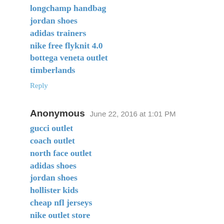longchamp handbag
jordan shoes
adidas trainers
nike free flyknit 4.0
bottega veneta outlet
timberlands
Reply
Anonymous  June 22, 2016 at 1:01 PM
gucci outlet
coach outlet
north face outlet
adidas shoes
jordan shoes
hollister kids
cheap nfl jerseys
nike outlet store
louis vuitton
coach outlet
adidas uk